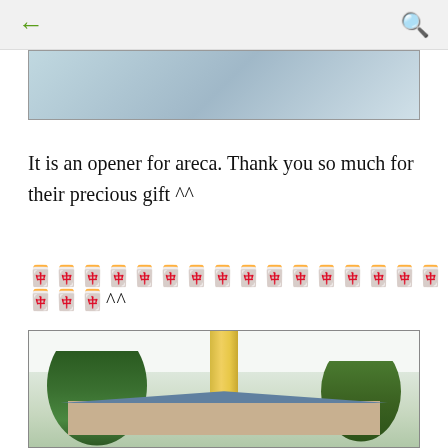[Figure (screenshot): Mobile app top navigation bar with back arrow (left) and search icon (right) on light gray background]
[Figure (photo): Partial photo visible at top of screen, appears to show a close-up of some object]
It is an opener for areca. Thank you so much for their precious gift ^^
🀄🀄🀄🀄🀄🀄🀄🀄🀄🀄🀄🀄🀄🀄🀄🀄🀄🀄🀄^^
[Figure (photo): Outdoor photo showing a tall yellow/gold pillar or column monument with trees and buildings in the background]